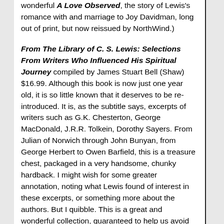wonderful A Love Observed, the story of Lewis's romance with and marriage to Joy Davidman, long out of print, but now reissued by NorthWind.)
From The Library of C. S. Lewis: Selections From Writers Who Influenced His Spiritual Journey compiled by James Stuart Bell (Shaw) $16.99. Although this book is now just one year old, it is so little known that it deserves to be re-introduced. It is, as the subtitle says, excerpts of writers such as G.K. Chesterton, George MacDonald, J.R.R. Tolkein, Dorothy Sayers. From Julian of Norwich through John Bunyan, from George Herbert to Owen Barfield, this is a treasure chest, packaged in a very handsome, chunky hardback. I might wish for some greater annotation, noting what Lewis found of interest in these excerpts, or something more about the authors. But I quibble. This is a great and wonderful collection, guaranteed to help us avoid the "chronological snobbery. " that Lewis so quotably and memorably warned about in "On The Reading of Old Books" found in Walter Hooper's must-have anthology, God In The Dock. Of course, he